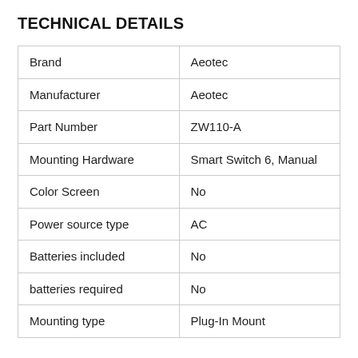TECHNICAL DETAILS
| Brand | Aeotec |
| Manufacturer | Aeotec |
| Part Number | ZW110-A |
| Mounting Hardware | Smart Switch 6, Manual |
| Color Screen | No |
| Power source type | AC |
| Batteries included | No |
| batteries required | No |
| Mounting type | Plug-In Mount |